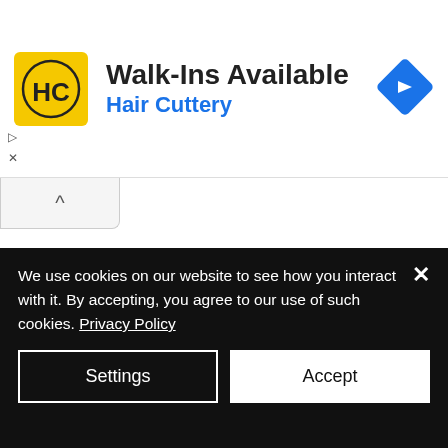[Figure (logo): Hair Cuttery advertisement banner with HC logo, 'Walk-Ins Available' title, 'Hair Cuttery' subtitle in blue, and a blue navigation arrow icon on the right]
He wrote:
“As we look to the future, connected park experiences
We use cookies on our website to see how you interact with it. By accepting, you agree to our use of such cookies. Privacy Policy
Settings
Accept